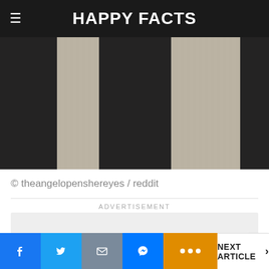HAPPY FACTS
[Figure (photo): Close-up photo of fabric or material with alternating black and light gray/beige diagonal stripes, textured surface.]
© theangelopenshereyes / reddit
ADVERTISEMENT
NEXT ARTICLE >